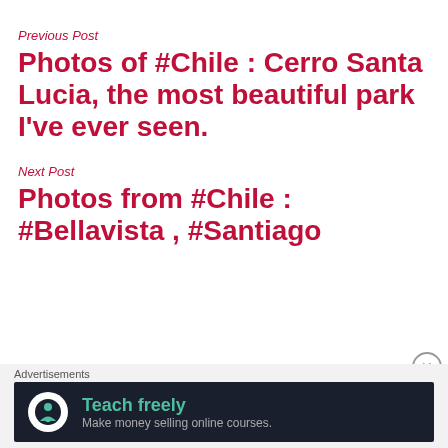Previous Post
Photos of #Chile : Cerro Santa Lucia, the most beautiful park I've ever seen.
Next Post
Photos from #Chile : #Bellavista , #Santiago
[Figure (other): Advertisement banner with dark background, tree/person icon, text 'Teach freely' and 'Make money selling online courses.' with a close button]
Advertisements